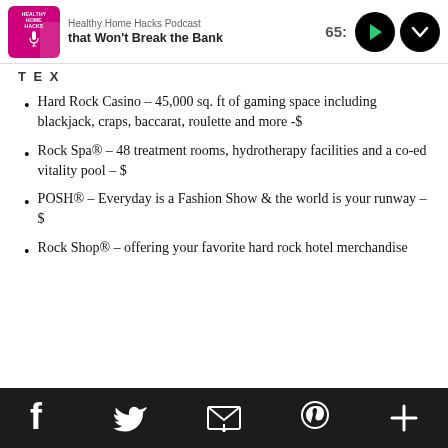Healthy Home Hacks Podcast / that Won't Break the Bank  65:
T E X
Hard Rock Casino – 45,000 sq. ft of gaming space including blackjack, craps, baccarat, roulette and more -$
Rock Spa® – 48 treatment rooms, hydrotherapy facilities and a co-ed vitality pool – $
POSH® – Everyday is a Fashion Show & the world is your runway – $
Rock Shop® – offering your favorite hard rock hotel merchandise
f  Twitter  Email  Pinterest  +